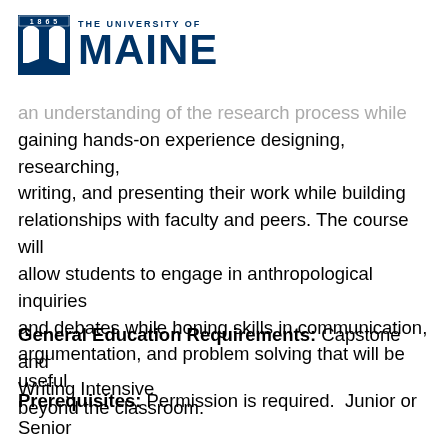1865 THE UNIVERSITY OF MAINE
an understanding of the research process while gaining hands-on experience designing, researching, writing, and presenting their work while building relationships with faculty and peers. The course will allow students to engage in anthropological inquiries and debates while honing skills in communication, argumentation, and problem solving that will be useful beyond the classroom.
General Education Requirements: Capstone and Writing Intensive
Prerequisites: Permission is required.  Junior or Senior standing in the Anthropology or International Affairs (CCG concentration) or Human Dimensions of Climate